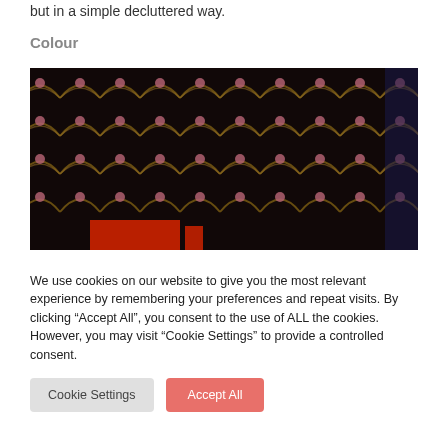but in a simple decluttered way.
Colour
[Figure (photo): Close-up photograph of a dark decorative wallpaper with repeating wave/arc pattern in brown/gold tones with pink/mauve dots, and a red furniture piece visible at the bottom.]
We use cookies on our website to give you the most relevant experience by remembering your preferences and repeat visits. By clicking “Accept All”, you consent to the use of ALL the cookies. However, you may visit “Cookie Settings” to provide a controlled consent.